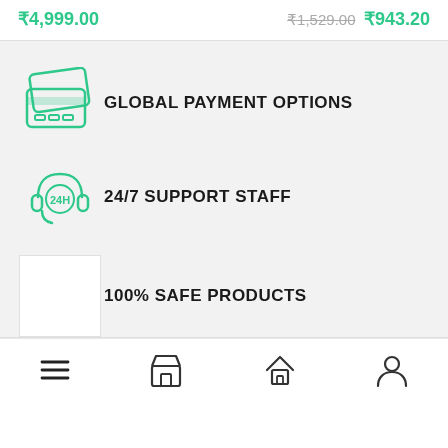₹4,999.00
₹1,529.00 ₹943.20
GLOBAL PAYMENT OPTIONS
24/7 SUPPORT STAFF
100% SAFE PRODUCTS